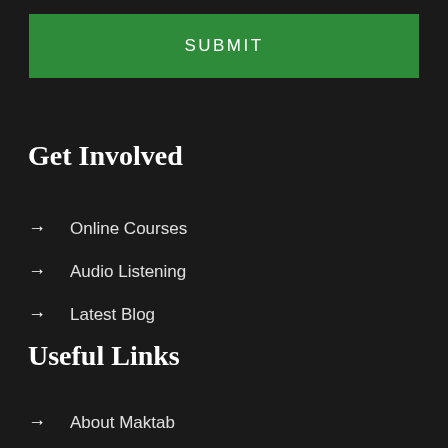SUBMIT
Get Involved
Online Courses
Audio Listening
Latest Blog
Useful Links
About Maktab